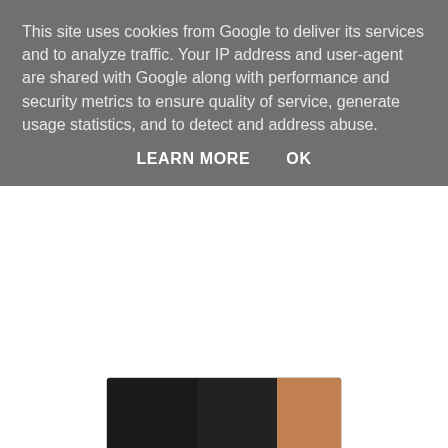This site uses cookies from Google to deliver its services and to analyze traffic. Your IP address and user-agent are shared with Google along with performance and security metrics to ensure quality of service, generate usage statistics, and to detect and address abuse.
LEARN MORE   OK
[Figure (photo): Close-up photo of a person holding a label patch on a black neoprene vest/harness. The label is light gray/white with stitched edges. Text on the vest reads 'AIN' on the left and 'IN SI' on the right. A person's hand (skin visible) is holding the label patch.]
Vest Material
The vest is made of a thick neoprene type fabric so it it's soft and pliable against your body as you move and is also pretty weather proof ... important if, like me, you take your phone